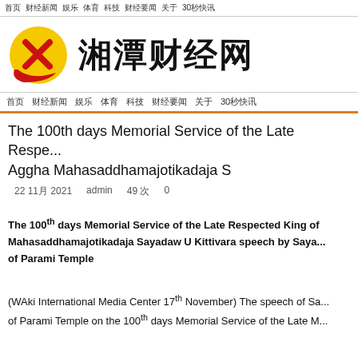首页  财经新闻  娱乐  体育  科技  财经要闻  关于  30秒快讯
[Figure (logo): 湘潭财经网 logo: yellow circle with red X mark and red swoosh, with Chinese text 湘潭财经网]
首页  财经新闻  娱乐  体育  科技  财经要闻  关于  30秒快讯
The 100th days Memorial Service of the Late Respe... Aggha Mahasaddhamajotikadaja S
22 11月 2021    admin    49 次    0
The 100th days Memorial Service of the Late Respected King of Mahasaddhamajotikadaja Sayadaw U Kittivara speech by Saya... of Parami Temple
(WAki International Media Center 17th November) The speech of Sa... of Parami Temple on the 100th days Memorial Service of the Late M...